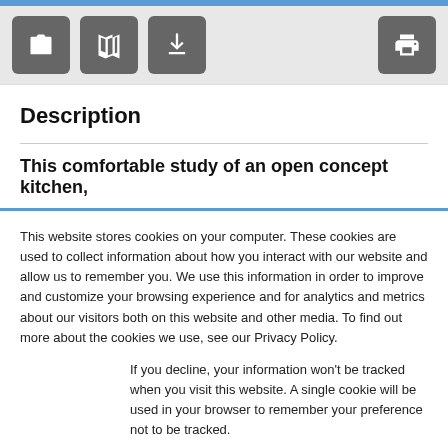[Figure (screenshot): Toolbar with icon buttons: camera, map, download on left; print on right]
Description
This comfortable study of an open concept kitchen,
This website stores cookies on your computer. These cookies are used to collect information about how you interact with our website and allow us to remember you. We use this information in order to improve and customize your browsing experience and for analytics and metrics about our visitors both on this website and other media. To find out more about the cookies we use, see our Privacy Policy.
If you decline, your information won't be tracked when you visit this website. A single cookie will be used in your browser to remember your preference not to be tracked.